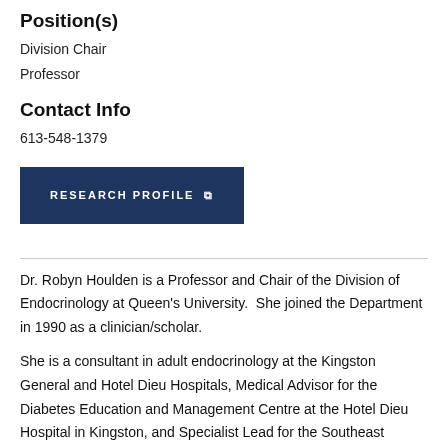Position(s)
Division Chair
Professor
Contact Info
613-548-1379
RESEARCH PROFILE
Dr. Robyn Houlden is a Professor and Chair of the Division of Endocrinology at Queen's University.  She joined the Department in 1990 as a clinician/scholar.
She is a consultant in adult endocrinology at the Kingston General and Hotel Dieu Hospitals, Medical Advisor for the Diabetes Education and Management Centre at the Hotel Dieu Hospital in Kingston, and Specialist Lead for the Southeast